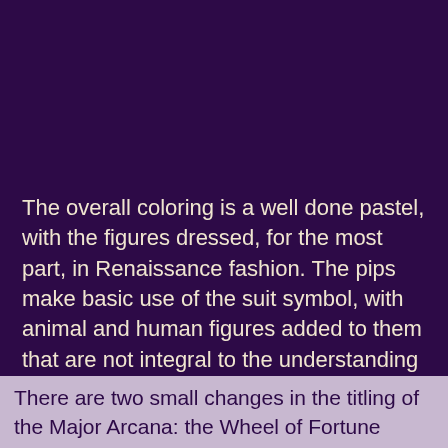The overall coloring is a well done pastel, with the figures dressed, for the most part, in Renaissance fashion. The pips make basic use of the suit symbol, with animal and human figures added to them that are not integral to the understanding of the cards. Each suit has its own color: yellow for Swords, pink for Cups, green for Pentacles and blue for Staves.
There are two small changes in the titling of the Major Arcana: the Wheel of Fortune becomes Chance and